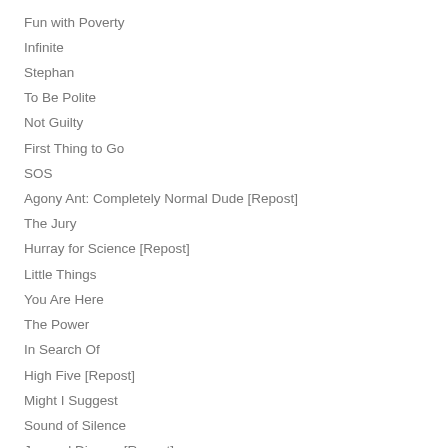Fun with Poverty
Infinite
Stephan
To Be Polite
Not Guilty
First Thing to Go
SOS
Agony Ant: Completely Normal Dude [Repost]
The Jury
Hurray for Science [Repost]
Little Things
You Are Here
The Power
In Search Of
High Five [Repost]
Might I Suggest
Sound of Silence
Joy and Dismay [Repost]
Cheer Up